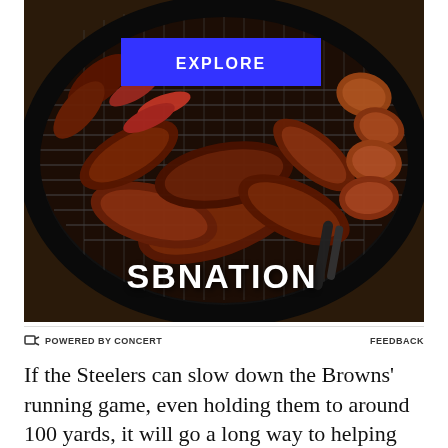[Figure (photo): A large round outdoor BBQ grill loaded with various meats including ribs, sausages, and other cuts, photographed from above. An 'EXPLORE' button overlay appears in blue at the top, and the SBNation logo appears at the bottom of the image.]
POWERED BY CONCERT   FEEDBACK
If the Steelers can slow down the Browns' running game, even holding them to around 100 yards, it will go a long way to helping them win this hard fought